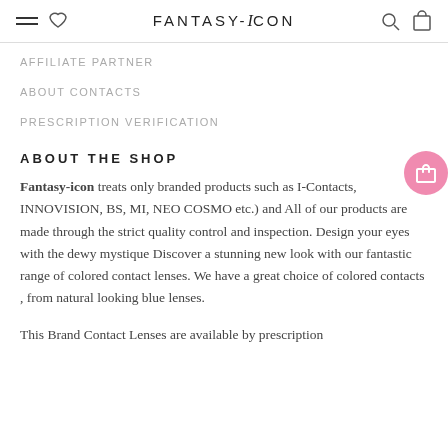FANTASY-iCON
AFFILIATE PARTNER
ABOUT CONTACTS
PRESCRIPTION VERIFICATION
ABOUT THE SHOP
Fantasy-icon treats only branded products such as I-Contacts, INNOVISION, BS, MI, NEO COSMO etc.) and All of our products are made through the strict quality control and inspection. Design your eyes with the dewy mystique Discover a stunning new look with our fantastic range of colored contact lenses. We have a great choice of colored contacts , from natural looking blue lenses.
This Brand Contact Lenses are available by prescription